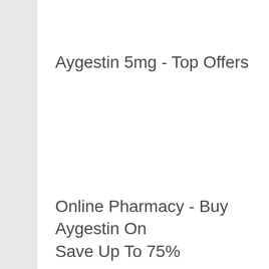Aygestin 5mg - Top Offers
Online Pharmacy - Buy Aygestin On Save Up To 75%